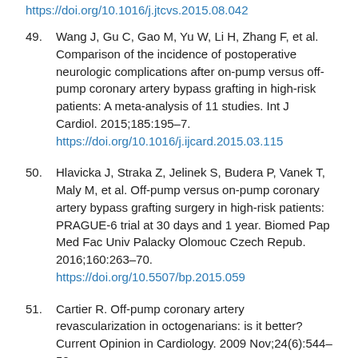https://doi.org/10.1016/j.jtcvs.2015.08.042
49. Wang J, Gu C, Gao M, Yu W, Li H, Zhang F, et al. Comparison of the incidence of postoperative neurologic complications after on-pump versus off-pump coronary artery bypass grafting in high-risk patients: A meta-analysis of 11 studies. Int J Cardiol. 2015;185:195–7. https://doi.org/10.1016/j.ijcard.2015.03.115
50. Hlavicka J, Straka Z, Jelinek S, Budera P, Vanek T, Maly M, et al. Off-pump versus on-pump coronary artery bypass grafting surgery in high-risk patients: PRAGUE-6 trial at 30 days and 1 year. Biomed Pap Med Fac Univ Palacky Olomouc Czech Repub. 2016;160:263–70. https://doi.org/10.5507/bp.2015.059
51. Cartier R. Off-pump coronary artery revascularization in octogenarians: is it better? Current Opinion in Cardiology. 2009 Nov;24(6):544–52. https://doi.org/10.1097/HCO.0b013e32833124f5
52. Kerendi F, Morris CD, Puskas JD. Off-pump coronary bypass surgery for high-risk patients: only in expert